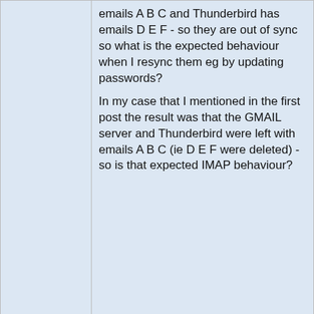emails A B C and Thunderbird has emails D E F - so they are out of sync so what is the expected behaviour when I resync them eg by updating passwords?
In my case that I mentioned in the first post the result was that the GMAIL server and Thunderbird were left with emails A B C (ie D E F were deleted) - so is that expected IMAP behaviour?
3 Jun 2022, 07:16 AM
#6
emoore
Essential Contributor
Join Date: Apr 2002
Posts: 274
No, its not expected behavior.
With a IMAP account if you are working in ONline mode (the default setting)